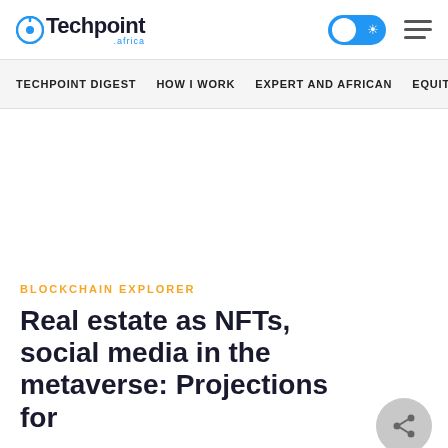Techpoint Africa
TECHPOINT DIGEST  HOW I WORK  EXPERT AND AFRICAN  EQUITY
BLOCKCHAIN EXPLORER
Real estate as NFTs, social media in the metaverse: Projections for